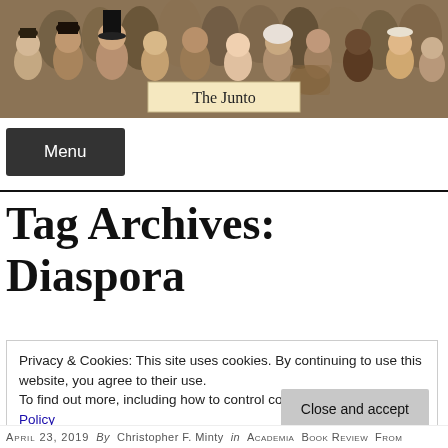[Figure (illustration): Header banner image showing a painted scene of a crowd of people in historical attire, with 'The Junto' label overlaid in a cream-colored box at the bottom center.]
Menu
Tag Archives: Diaspora
Privacy & Cookies: This site uses cookies. By continuing to use this website, you agree to their use.
To find out more, including how to control cookies, see here: Cookie Policy
Close and accept
April 23, 2019  By  Christopher F. Minty  in  Academia  Book Review  From